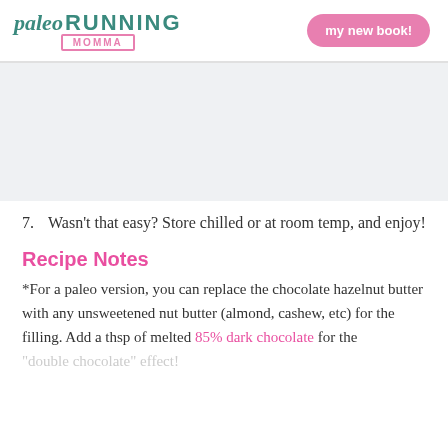paleo RUNNING MOMMA | my new book!
[Figure (photo): Light gray placeholder image area]
7. Wasn't that easy? Store chilled or at room temp, and enjoy!
Recipe Notes
*For a paleo version, you can replace the chocolate hazelnut butter with any unsweetened nut butter (almond, cashew, etc) for the filling. Add a thsp of melted 85% dark chocolate for the "double chocolate" effect!